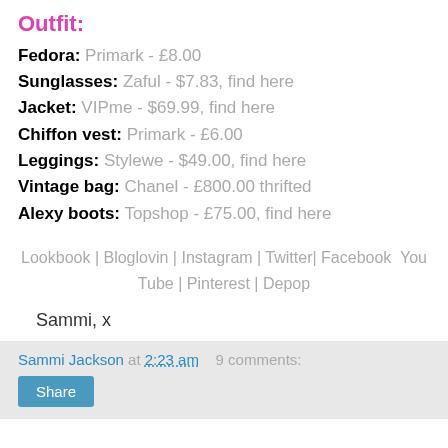Outfit:
Fedora: Primark - £8.00
Sunglasses: Zaful - $7.83, find here
Jacket: VIPme - $69.99, find here
Chiffon vest: Primark - £6.00
Leggings: Stylewe - $49.00, find here
Vintage bag: Chanel - £800.00 thrifted
Alexy boots: Topshop - £75.00, find here
Lookbook | Bloglovin | Instagram | Twitter| Facebook  You Tube | Pinterest | Depop
Sammi, x
Sammi Jackson at 2:23 am  9 comments: